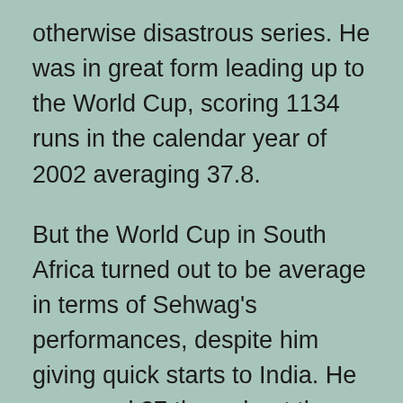otherwise disastrous series. He was in great form leading up to the World Cup, scoring 1134 runs in the calendar year of 2002 averaging 37.8.
But the World Cup in South Africa turned out to be average in terms of Sehwag's performances, despite him giving quick starts to India. He averaged 27 throughout the tournament, with his best score being an 81-ball 82 in what was otherwise a completely one-sided final against Australia. Yet, he was persisted with to open the batting in ODIs with Sachin Tendulkar, as Sourav Ganguly decided